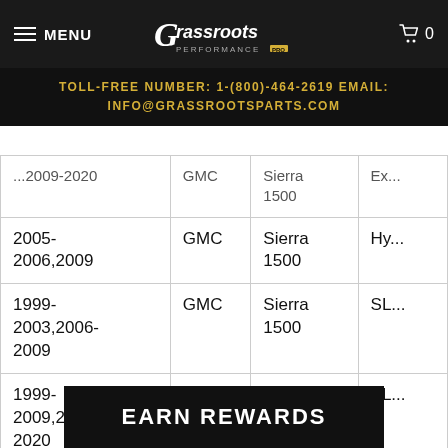MENU | Grassroots Performance | Cart 0
TOLL-FREE NUMBER: 1-(800)-464-2619 EMAIL: INFO@GRASSROOTSPARTS.COM
| Year | Make | Model | Trim |
| --- | --- | --- | --- |
| (partial) ...2009-2020 | GMC | Sierra 1500 | (partial) |
| 2005-2006,2009 | GMC | Sierra 1500 | Hy... |
| 1999-2003,2006-2009 | GMC | Sierra 1500 | SL... |
| 1999-2009,2015-2020 | GMC | Sierra 1500 | SL... |
| 1999-2009,2014-2020 | G... | Si... | ... |
EARN REWARDS